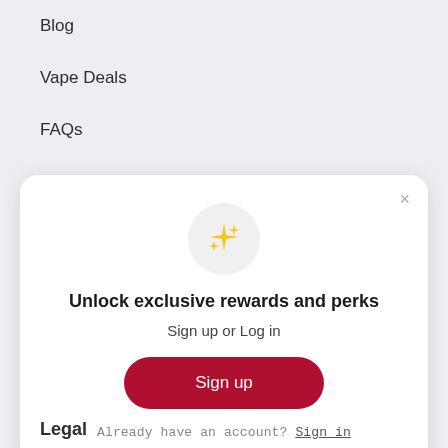Blog
Vape Deals
FAQs
Battery Safety Guide
[Figure (illustration): Modal dialog with sparkle emoji icon, title 'Unlock exclusive rewards and perks', subtitle 'Sign up or Log in', a red Sign up button, and a 'Already have an account? Sign in' link. An X close button is in the top right.]
Legal